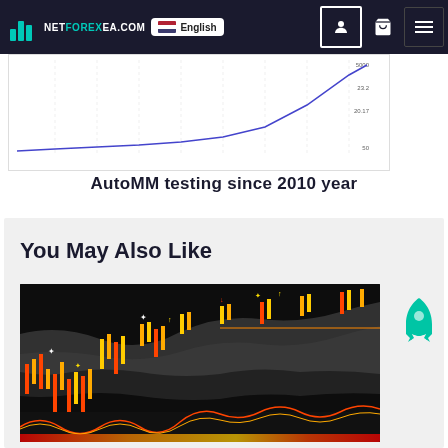netforexea.com — English
[Figure (continuous-plot): Line chart showing AutoMM equity curve rising from 2010 to present, with y-axis labels including values around 50, 20.77, 23.2, and ~5000+]
AutoMM testing since 2010 year
You May Also Like
[Figure (screenshot): Trading chart screenshot showing candlestick chart on black background with orange/red/yellow candles, grey cloud indicator (Ichimoku), buy/sell signal arrows in white/yellow/red, and an oscillator panel at the bottom with red/yellow/orange color bands]